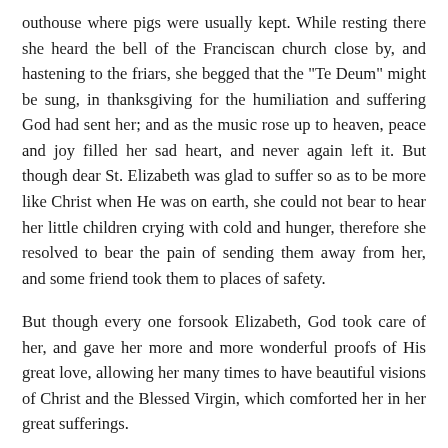outhouse where pigs were usually kept. While resting there she heard the bell of the Franciscan church close by, and hastening to the friars, she begged that the "Te Deum" might be sung, in thanksgiving for the humiliation and suffering God had sent her; and as the music rose up to heaven, peace and joy filled her sad heart, and never again left it. But though dear St. Elizabeth was glad to suffer so as to be more like Christ when He was on earth, she could not bear to hear her little children crying with cold and hunger, therefore she resolved to bear the pain of sending them away from her, and some friend took them to places of safety.
But though every one forsook Elizabeth, God took care of her, and gave her more and more wonderful proofs of His great love, allowing her many times to have beautiful visions of Christ and the Blessed Virgin, which comforted her in her great sufferings.
After a time the Landgravine Sophia and her sons were sorry for their treatment of the Saint, and restored to her a great part of her property, so that her children were provided for, but Elizabeth chose for herself a life of continual poverty and hardship. Her coarse dress was patched with all colors, and she worked for her bread, and